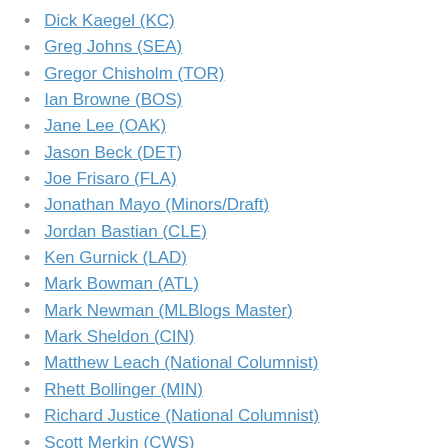Dick Kaegel (KC)
Greg Johns (SEA)
Gregor Chisholm (TOR)
Ian Browne (BOS)
Jane Lee (OAK)
Jason Beck (DET)
Joe Frisaro (FLA)
Jonathan Mayo (Minors/Draft)
Jordan Bastian (CLE)
Ken Gurnick (LAD)
Mark Bowman (ATL)
Mark Newman (MLBlogs Master)
Mark Sheldon (CIN)
Matthew Leach (National Columnist)
Rhett Bollinger (MIN)
Richard Justice (National Columnist)
Scott Merkin (CWS)